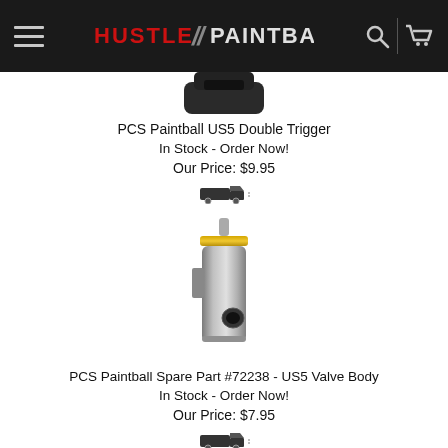Hustle Paintball
[Figure (photo): Partial product image of PCS Paintball US5 Double Trigger (cropped at top)]
PCS Paintball US5 Double Trigger
In Stock - Order Now!
Our Price: $9.95
[Figure (photo): Small truck/shipping icon for product 1]
[Figure (photo): Product photo of PCS Paintball Spare Part #72238 - US5 Valve Body: cylindrical silver metal valve body with gold top ring and small hole/port on side]
PCS Paintball Spare Part #72238 - US5 Valve Body
In Stock - Order Now!
Our Price: $7.95
[Figure (photo): Small truck/shipping icon for product 2]